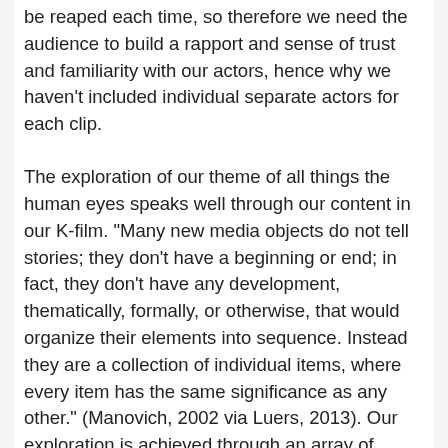be reaped each time, so therefore we need the audience to build a rapport and sense of trust and familiarity with our actors, hence why we haven't included individual separate actors for each clip.
The exploration of our theme of all things the human eyes speaks well through our content in our K-film. "Many new media objects do not tell stories; they don't have a beginning or end; in fact, they don’t have any development, thematically, formally, or otherwise, that would organize their elements into sequence. Instead they are a collection of individual items, where every item has the same significance as any other." (Manovich, 2002 via Luers, 2013). Our exploration is achieved through an array of footage, some close up, some macro lense work and some long panning shots. The camera movements vary, from up to down, down to up, side to side, forward and back. We really enjoy the films use of close ups, specifically the close ups on the human eye of different individuals. We wanted to